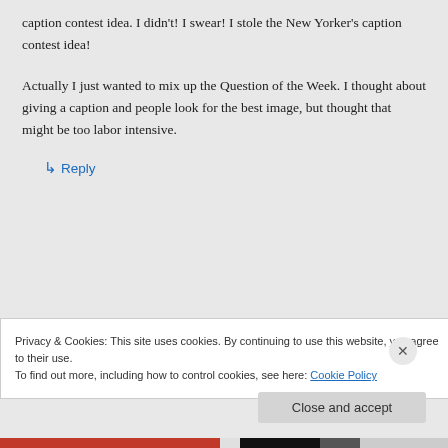caption contest idea. I didn't! I swear! I stole the New Yorker's caption contest idea!
Actually I just wanted to mix up the Question of the Week. I thought about giving a caption and people look for the best image, but thought that might be too labor intensive.
↳ Reply
Privacy & Cookies: This site uses cookies. By continuing to use this website, you agree to their use.
To find out more, including how to control cookies, see here: Cookie Policy
Close and accept